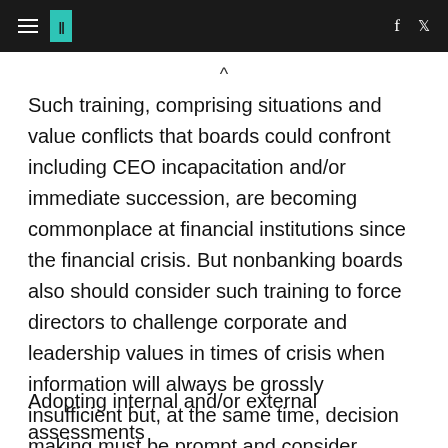HuffPost header with hamburger menu, logo, Facebook and Twitter icons
Such training, comprising situations and value conflicts that boards could confront including CEO incapacitation and/or immediate succession, are becoming commonplace at financial institutions since the financial crisis. But nonbanking boards also should consider such training to force directors to challenge corporate and leadership values in times of crisis when information will always be grossly insufficient but, at the same time, decision making must be prompt and consider competing interests.
Adopting internal and/or external assessments